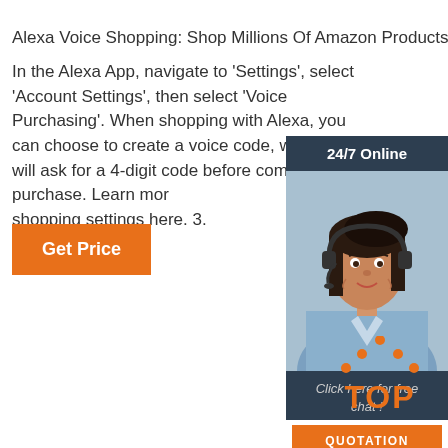Alexa Voice Shopping: Shop Millions Of Amazon Products ...
In the Alexa App, navigate to 'Settings', select 'Account Settings', then select 'Voice Purchasing'. When shopping with Alexa, you can choose to create a voice code, where Alexa will ask for a 4-digit code before completing a purchase. Learn more about voice shopping settings here. 3.
[Figure (infographic): Chat widget showing '24/7 Online' header, photo of woman with headset, 'Click here for free chat!' text, and 'QUOTATION' orange button]
[Figure (logo): Orange 'TOP' button logo with dots above forming an upward arrow/triangle shape]